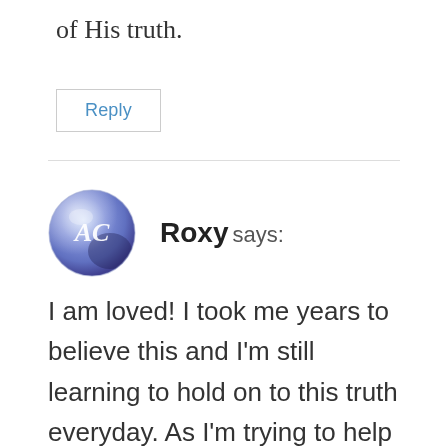of His truth.
Reply
Roxy says:
[Figure (illustration): Circular avatar image with blue/purple marble-like background and white letters 'AC' in the center]
I am loved! I took me years to believe this and I'm still learning to hold on to this truth everyday. As I'm trying to help my coworker who recently was left by her